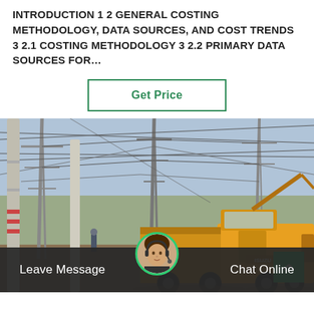INTRODUCTION 1 2 GENERAL COSTING METHODOLOGY, DATA SOURCES, AND COST TRENDS 3 2.1 COSTING METHODOLOGY 3 2.2 PRIMARY DATA SOURCES FOR…
[Figure (other): Button with green border and text 'Get Price' in green on white background]
[Figure (photo): Photo of an electrical substation construction site with tall steel pylons and high-voltage transmission lines. A yellow Isuzu construction truck is parked in the foreground. Workers and equipment visible in the background under a clear sky.]
Leave Message
Chat Online